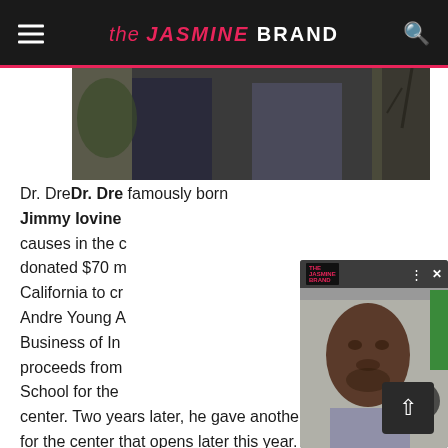the JASMINE BRAND
[Figure (photo): Top partial photo showing two people standing outdoors]
Dr. DreDr. Dre famously born Jimmy Iovine causes in the community. donated $70 m California to create the Andre Young A Business of In proceeds from School for the center. Two years later, he gave another $10 million for the center that opens later this year.
[Figure (photo): Video overlay popup showing a man (R. Kelly) looking at the camera in a mugshot-style photo, with The Jasmine Brand logo in the top-left, menu dots and X close button in top-right, and a right-arrow navigation button]